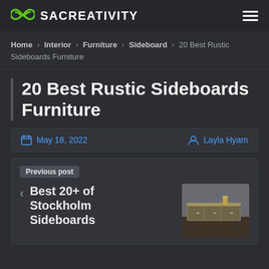SACREATIVITY
Home > Interior > Furniture > Sideboard > 20 Best Rustic Sideboards Furniture
20 Best Rustic Sideboards Furniture
May 18, 2022   Layla Hyam
Previous post
Best 20+ of Stockholm Sideboards